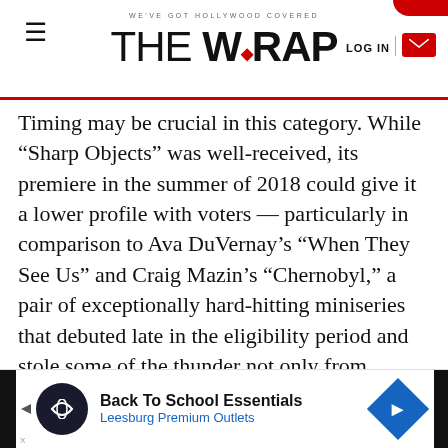WE'VE GOT HOLLYWOOD COVERED — THE WRAP
Timing may be crucial in this category. While “Sharp Objects” was well-received, its premiere in the summer of 2018 could give it a lower profile with voters — particularly in comparison to Ava DuVernay’s “When They See Us” and Craig Mazin’s “Chernobyl,” a pair of exceptionally hard-hitting miniseries that debuted late in the eligibility period and stole some of the thunder not only from “Sharp Objects” but also from presumed frontrunners “Escape at Dannemora” and “Fosse/Verdon.”
[Figure (other): Advertisement banner: Back To School Essentials — Leesburg Premium Outlets]